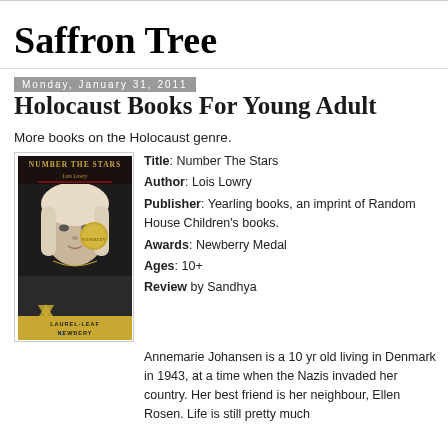Saffron Tree
Monday, January 31, 2011
Holocaust Books For Young Adult
More books on the Holocaust genre.
[Figure (photo): Book cover of 'Number The Stars' by Lois Lowry, Laurel-Leaf Newbery edition, showing a young girl's face with a Star of David in the lower left corner and a gold medal.]
Title: Number The Stars
Author: Lois Lowry
Publisher: Yearling books, an imprint of Random House Children's books.
Awards: Newberry Medal
Ages: 10+
Review by Sandhya
Annemarie Johansen is a 10 yr old living in Denmark in 1943, at a time when the Nazis invaded her country. Her best friend is her neighbour, Ellen Rosen. Life is still pretty much the same for all of them...